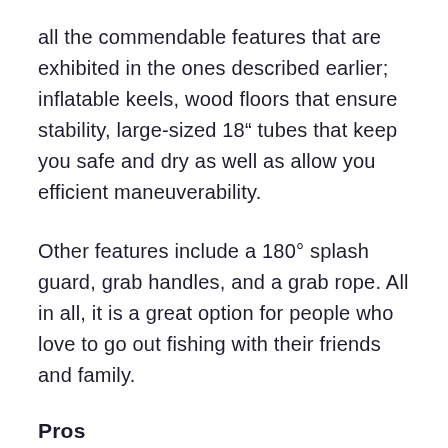all the commendable features that are exhibited in the ones described earlier; inflatable keels, wood floors that ensure stability, large-sized 18" tubes that keep you safe and dry as well as allow you efficient maneuverability.
Other features include a 180° splash guard, grab handles, and a grab rope. All in all, it is a great option for people who love to go out fishing with their friends and family.
Pros